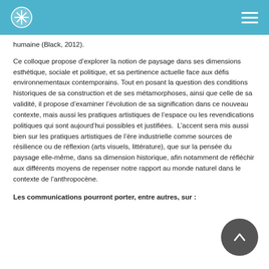[Header bar with logo and navigation menu]
humaine (Black, 2012).
Ce colloque propose d’explorer la notion de paysage dans ses dimensions esthétique, sociale et politique, et sa pertinence actuelle face aux défis environnementaux contemporains. Tout en posant la question des conditions historiques de sa construction et de ses métamorphoses, ainsi que celle de sa validité, il propose d’examiner l’évolution de sa signification dans ce nouveau contexte, mais aussi les pratiques artistiques de l’espace ou les revendications politiques qui sont aujourd’hui possibles et justifiées. L’accent sera mis aussi bien sur les pratiques artistiques de l’ère industrielle comme sources de résilience ou de réflexion (arts visuels, littérature), que sur la pensée du paysage elle-même, dans sa dimension historique, afin notamment de réfléchir aux différents moyens de repenser notre rapport au monde naturel dans le contexte de l’anthropocène.
Les communications pourront porter, entre autres, sur :